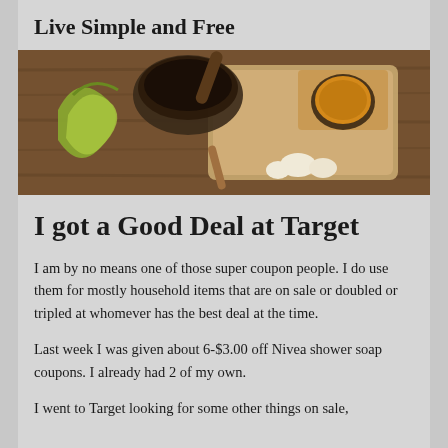Live Simple and Free
[Figure (photo): Overhead view of food preparation items on a wooden surface: a mortar and pestle, green apple peels, a cup of tea or broth on a wooden tray, garlic cloves, and wooden utensils.]
I got a Good Deal at Target
I am by no means one of those super coupon people. I do use them for mostly household items that are on sale or doubled or tripled at whomever has the best deal at the time.
Last week I was given about 6-$3.00 off Nivea shower soap coupons. I already had 2 of my own.
I went to Target looking for some other things on sale,